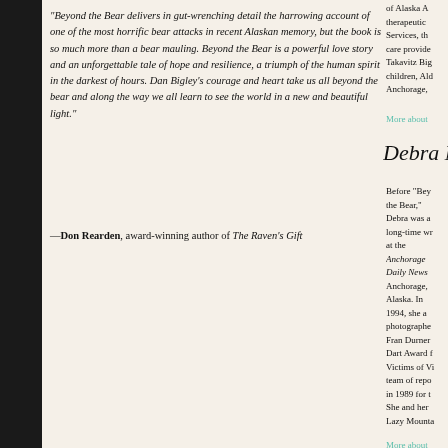“Beyond the Bear delivers in gut-wrenching detail the harrowing account of one of the most horrific bear attacks in recent Alaskan memory, but the book is so much more than a bear mauling. Beyond the Bear is a powerful love story and an unforgettable tale of hope and resilience, a triumph of the human spirit in the darkest of hours. Dan Bigley’s courage and heart take us all beyond the bear and along the way we all learn to see the world in a new and beautiful light.”
—Don Rearden, award-winning author of The Raven’s Gift
of Alaska A therapeutic Services, th care provide Takavitz Big children, Al Anchorage,
More about
[Figure (other): Handwritten signature reading 'Debra M']
Before “Bey the Bear,” Debra was a long-time wr at the Anchorage Daily News Anchorage, Alaska. In 1994, she a photographe Fran Durner Dart Award f Victims of V team of rep in 1989 for t She and her Lazy Mounta
More about